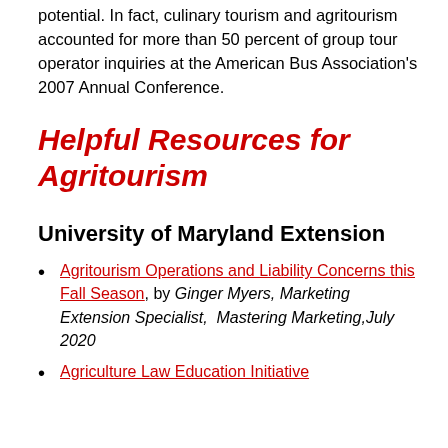potential. In fact, culinary tourism and agritourism accounted for more than 50 percent of group tour operator inquiries at the American Bus Association's 2007 Annual Conference.
Helpful Resources for Agritourism
University of Maryland Extension
Agritourism Operations and Liability Concerns this Fall Season, by Ginger Myers, Marketing Extension Specialist, Mastering Marketing,July 2020
Agriculture Law Education Initiative